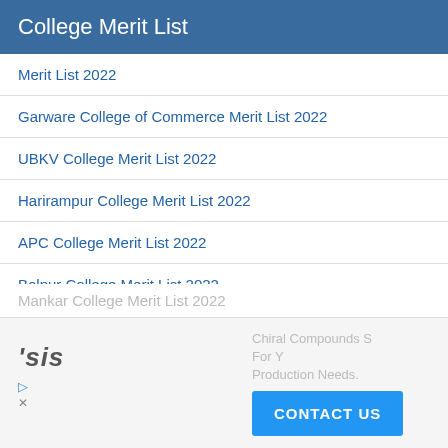College Merit List
Merit List 2022
Garware College of Commerce Merit List 2022
UBKV College Merit List 2022
Harirampur College Merit List 2022
APC College Merit List 2022
Bolpur College Merit List 2022
Samsi College Merit List 2022
Bareilly College Merit List 2022
Surya Sen College Merit List 2022
Saraf College Merit List 2022
Mankar College Merit List 2022
[Figure (other): Advertisement banner at the bottom with text mentioning 'sis', 'Chiral Compounds Synthesis For Your Production Needs.' and a 'CONTACT US' button]